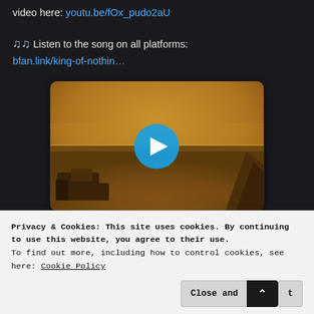video here: youtu.be/fOx_pudo2aU
🎵🎵 Listen to the song on all platforms: bfan.link/king-of-nothin…
[Figure (screenshot): Video thumbnail showing a Mars-like desert landscape with orange/brown tones and a blue circular play button in the center.]
Privacy & Cookies: This site uses cookies. By continuing to use this website, you agree to their use.
To find out more, including how to control cookies, see here: Cookie Policy